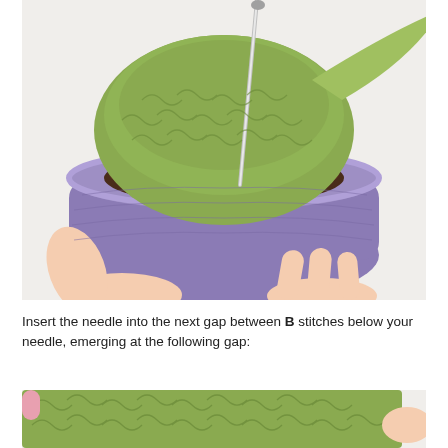[Figure (photo): Close-up photo of hands holding a crocheted plant in a purple pot with brown soil/dirt crochet base and green crochet top, with a metal needle being inserted between stitches.]
Insert the needle into the next gap between B stitches below your needle, emerging at the following gap:
[Figure (photo): Partial photo showing the green crocheted top of the plant with a hand visible at the right edge, beginning of the next step illustration.]